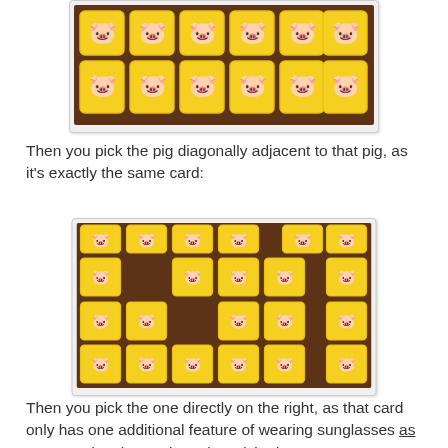[Figure (photo): Photo of pig card game cards arranged in two rows on a dark wooden surface, yellow cards with cartoon pig illustrations]
Then you pick the pig diagonally adjacent to that pig, as it's exactly the same card:
[Figure (photo): Photo of pig card game cards arranged in a grid pattern with some gaps, showing cards on a dark wooden surface]
Then you pick the one directly on the right, as that card only has one additional feature of wearing sunglasses as compared to the card you just picked up: